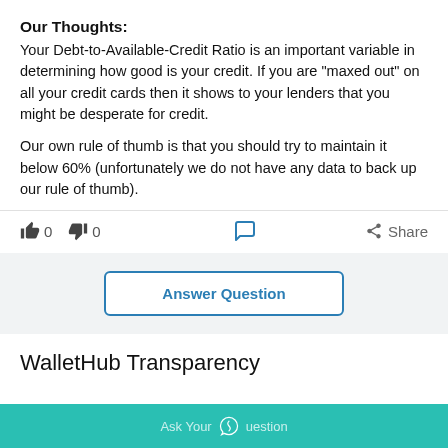Our Thoughts:
Your Debt-to-Available-Credit Ratio is an important variable in determining how good is your credit. If you are "maxed out" on all your credit cards then it shows to your lenders that you might be desperate for credit.
Our own rule of thumb is that you should try to maintain it below 60% (unfortunately we do not have any data to back up our rule of thumb).
👍 0   👎 0   💬   Share
Answer Question
WalletHub Transparency
Ask Your Question